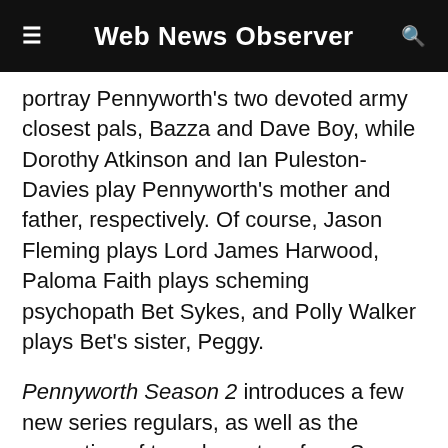Web News Observer
portray Pennyworth's two devoted army closest pals, Bazza and Dave Boy, while Dorothy Atkinson and Ian Puleston-Davies play Pennyworth's mother and father, respectively. Of course, Jason Fleming plays Lord James Harwood, Paloma Faith plays scheming psychopath Bet Sykes, and Polly Walker plays Bet's sister, Peggy.
Pennyworth Season 2 introduces a few new series regulars, as well as the promotion of two characters from Season 1 to series regular rank. Both Ramon Tikaram and Harriet Slater, who portray the persistent Detective Inspector Aziz who always gets in Pennyworth's way and